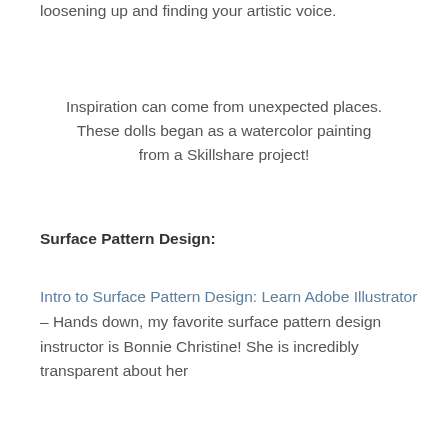loosening up and finding your artistic voice.
Inspiration can come from unexpected places. These dolls began as a watercolor painting from a Skillshare project!
Surface Pattern Design:
Intro to Surface Pattern Design: Learn Adobe Illustrator – Hands down, my favorite surface pattern design instructor is Bonnie Christine! She is incredibly transparent about her